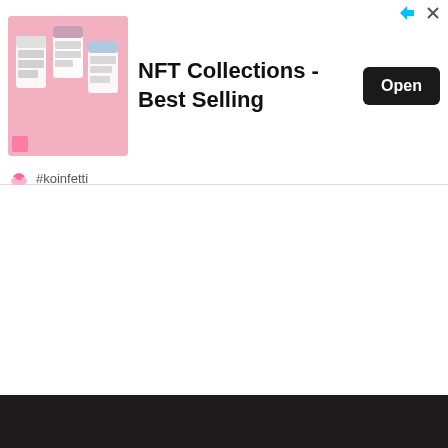[Figure (screenshot): Advertisement banner for NFT Collections app (koinfetti). Shows app screenshots on pink background, bold title 'NFT Collections - Best Selling', an Open button, and #koinfetti branding below.]
#koinfetti
[Figure (other): Collapse/chevron up button area in light gray rounded box]